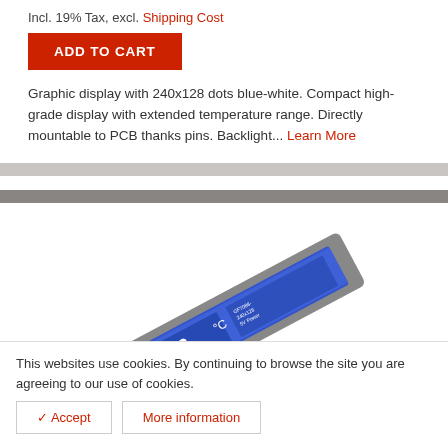Incl. 19% Tax, excl. Shipping Cost
ADD TO CART
Graphic display with 240x128 dots blue-white. Compact high-grade display with extended temperature range. Directly mountable to PCB thanks pins. Backlight... Learn More
[Figure (photo): A small rectangular LCD graphic display module shown at an angle, displaying temperature reading of 35.6°C with blue backlight, with a flexible connector cable attached.]
This websites use cookies. By continuing to browse the site you are agreeing to our use of cookies.
✓ Accept
More information